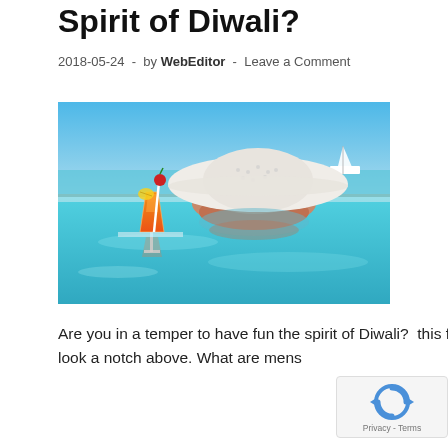Spirit of Diwali?
2018-05-24 - by WebEditor - Leave a Comment
[Figure (photo): Woman in a large white sun hat relaxing in an infinity pool, with an orange tropical cocktail garnished with cherry and pineapple on the pool edge, calm blue sea and a white yacht in the background.]
Are you in a temper to have fun the spirit of Diwali? this festive season we give you a variety of suggestio that may make you look a notch above. What are mens